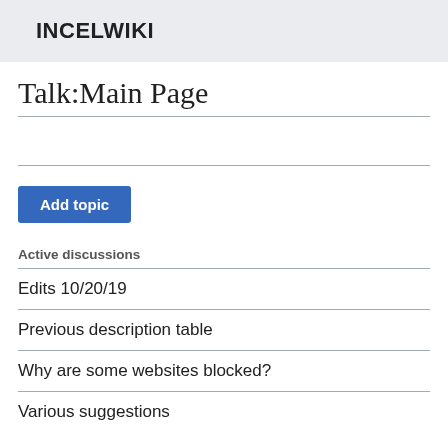INCELWIKI
Talk:Main Page
Add topic
Active discussions
Edits 10/20/19
Previous description table
Why are some websites blocked?
Various suggestions